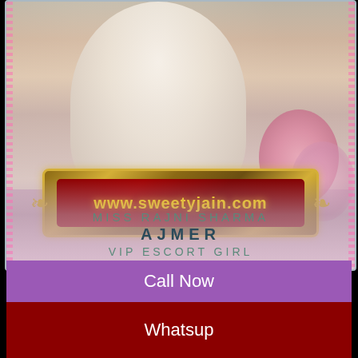[Figure (photo): Woman in white dress seated, with decorative gold and red banner showing www.sweetyjain.com, pink floral background]
MISS RAJNI SHARMA
AJMER
VIP ESCORT GIRL
Call Now
Whatsup